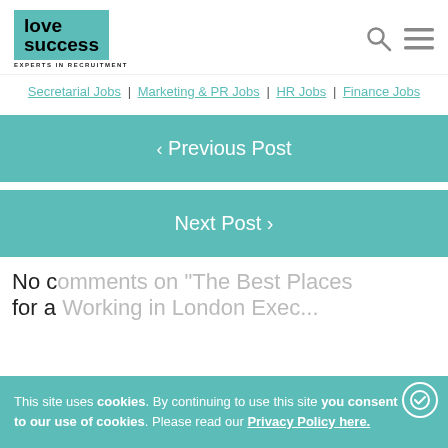love success EXPERTS IN RECRUITMENT
Secretarial Jobs | Marketing & PR Jobs | HR Jobs | Finance Jobs
< Previous Post
Next Post >
No comments on "The Best Places for a...
Jobseekers
This site uses cookies. By continuing to use this site you consent to our use of cookies. Please read our Privacy Policy here.